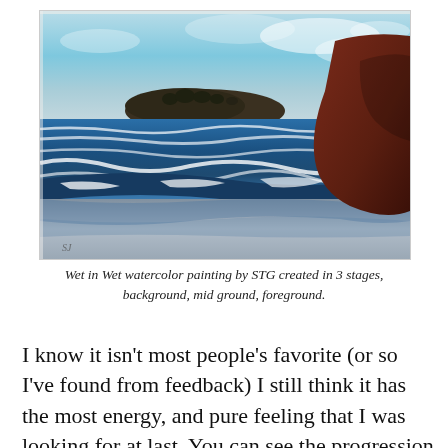[Figure (illustration): Watercolor painting of a coastal seascape with ocean waves, a dark rocky island in the background with trees, a large dark red/brown rock formation on the right, blue ocean waves with white foam in the middle ground, and a sandy/pebbly foreground beach. Sky is light blue and grey. Artist's initials visible in lower left.]
Wet in Wet watercolor painting by STG created in 3 stages, background, mid ground, foreground.
I know it isn't most people's favorite (or so I've found from feedback) I still think it has the most energy, and pure feeling that I was looking for at last.  You can see the progression from the detailed and timely